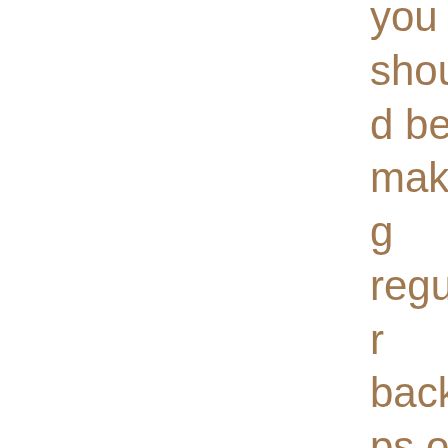you should be making regular backups of your writing Why you should not submit your manuscript the second